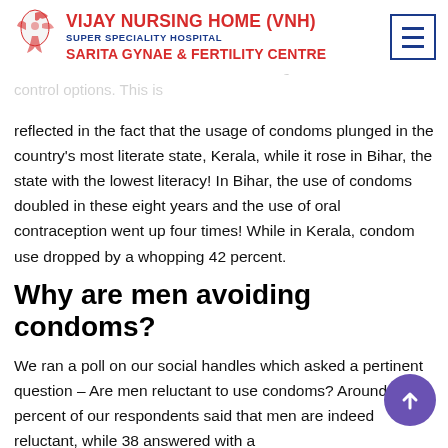One may be tempted to ask if the data is universal in applicability. Our research examined rich and analytical data from all India and all of them are resorting to last-minute birth control options. This is reflected in the fact that the usage of condoms plunged in the country's most literate state, Kerala, while it rose in Bihar, the state with the lowest literacy! In Bihar, the use of condoms doubled in these eight years and the use of oral contraception went up four times! While in Kerala, condom use dropped by a whopping 42 percent.
[Figure (logo): Vijay Nursing Home (VNH) Super Speciality Hospital Sarita Gynae & Fertility Centre logo with red bird emblem]
Why are men avoiding condoms?
We ran a poll on our social handles which asked a pertinent question – Are men reluctant to use condoms? Around 62 percent of our respondents said that men are indeed reluctant, while 38 answered with a